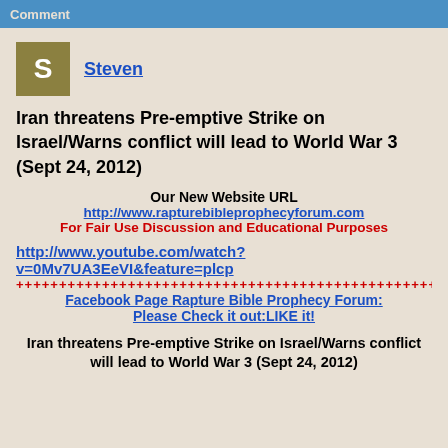Comment
S   Steven
Iran threatens Pre-emptive Strike on Israel/Warns conflict will lead to World War 3 (Sept 24, 2012)
Our New Website URL
http://www.rapturebibleprophecyforum.com
For Fair Use Discussion and Educational Purposes
http://www.youtube.com/watch?v=0Mv7UA3EeVI&feature=plcp
++++++++++++++++++++++++++++++++++++++++++++++++++++
Facebook Page Rapture Bible Prophecy Forum: Please Check it out:LIKE it!
Iran threatens Pre-emptive Strike on Israel/Warns conflict will lead to World War 3 (Sept 24, 2012)